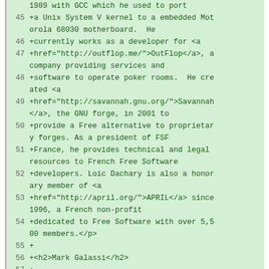Code diff showing lines 45-59 of a source file. Lines show additions (+) to biographical text about Loic Dachary and Mark Galassi, including HTML markup for links to outflop.me, savannah.gnu.org, and april.org, and text about Mark Galassi's involvement in the GNU project since 1984.